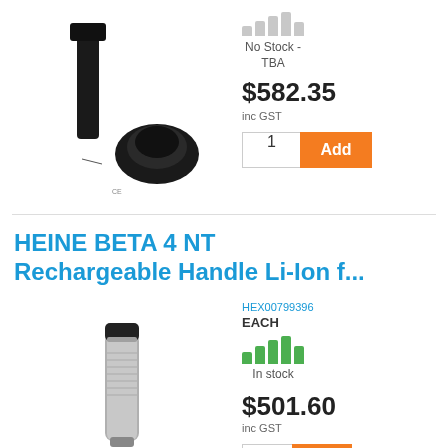[Figure (photo): Medical device - Welch Allyn ophthalmoscope handle with charging cradle, black]
No Stock - TBA
$582.35 inc GST
1 Add
HEINE BETA 4 NT Rechargeable Handle Li-Ion f...
[Figure (photo): HEINE BETA 4 NT rechargeable handle, silver and black cylindrical medical device]
HEX00799396
EACH
In stock
$501.60 inc GST